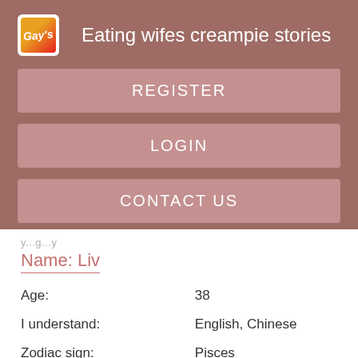Eating wifes creampie stories
REGISTER
LOGIN
CONTACT US
Name: Liv
| Age: | 38 |
| I understand: | English, Chinese |
| Zodiac sign: | Pisces |
| My favourite drink: | I prefer to drink rum |